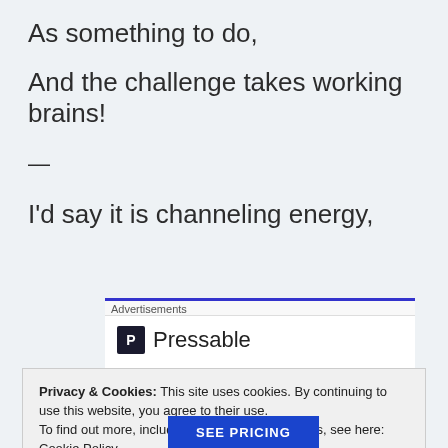As something to do,
And the challenge takes working brains!
—
I'd say it is channeling energy,
[Figure (other): Advertisements banner showing Pressable logo with dotted line below]
Privacy & Cookies: This site uses cookies. By continuing to use this website, you agree to their use.
To find out more, including how to control cookies, see here: Cookie Policy
Close and accept
SEE PRICING